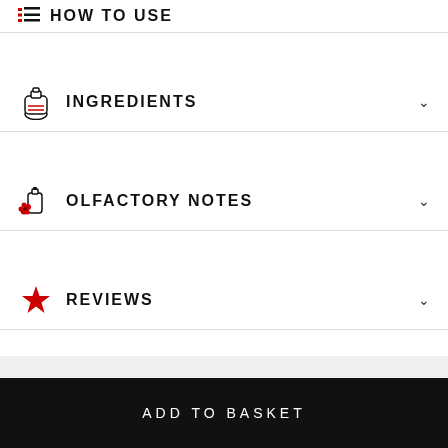HOW TO USE
INGREDIENTS
OLFACTORY NOTES
REVIEWS
ADD TO BASKET